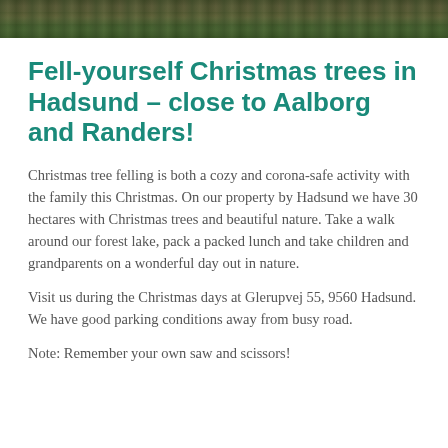[Figure (photo): Aerial or close-up photo of a forest/Christmas tree plantation, shown as a dark strip at the top of the page]
Fell-yourself Christmas trees in Hadsund – close to Aalborg and Randers!
Christmas tree felling is both a cozy and corona-safe activity with the family this Christmas. On our property by Hadsund we have 30 hectares with Christmas trees and beautiful nature. Take a walk around our forest lake, pack a packed lunch and take children and grandparents on a wonderful day out in nature.
Visit us during the Christmas days at Glerupvej 55, 9560 Hadsund. We have good parking conditions away from busy road.
Note: Remember your own saw and scissors!